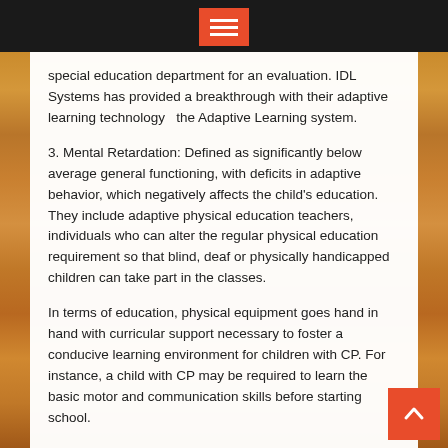special education department for an evaluation. IDL Systems has provided a breakthrough with their adaptive learning technology  the Adaptive Learning system.
3. Mental Retardation: Defined as significantly below average general functioning, with deficits in adaptive behavior, which negatively affects the child's education. They include adaptive physical education teachers, individuals who can alter the regular physical education requirement so that blind, deaf or physically handicapped children can take part in the classes.
In terms of education, physical equipment goes hand in hand with curricular support necessary to foster a conducive learning environment for children with CP. For instance, a child with CP may be required to learn the basic motor and communication skills before starting school.